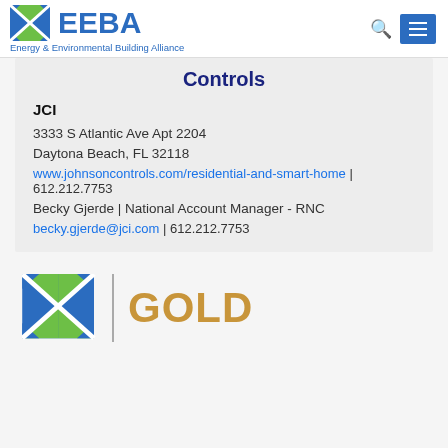[Figure (logo): EEBA - Energy & Environmental Building Alliance logo with navigation search and menu icons]
Controls
JCI
3333 S Atlantic Ave Apt 2204
Daytona Beach, FL 32118
www.johnsoncontrols.com/residential-and-smart-home | 612.212.7753
Becky Gjerde | National Account Manager - RNC
becky.gjerde@jci.com | 612.212.7753
[Figure (logo): EEBA logo icon with GOLD membership level text]